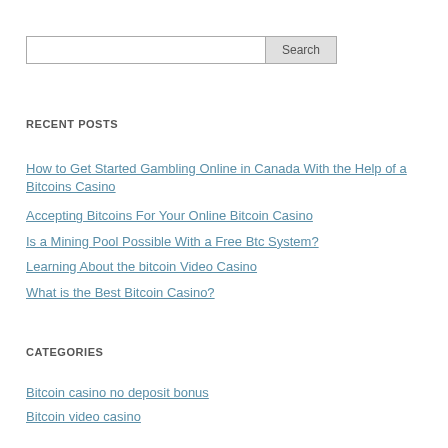[Search input]
RECENT POSTS
How to Get Started Gambling Online in Canada With the Help of a Bitcoins Casino
Accepting Bitcoins For Your Online Bitcoin Casino
Is a Mining Pool Possible With a Free Btc System?
Learning About the bitcoin Video Casino
What is the Best Bitcoin Casino?
CATEGORIES
Bitcoin casino no deposit bonus
Bitcoin video casino